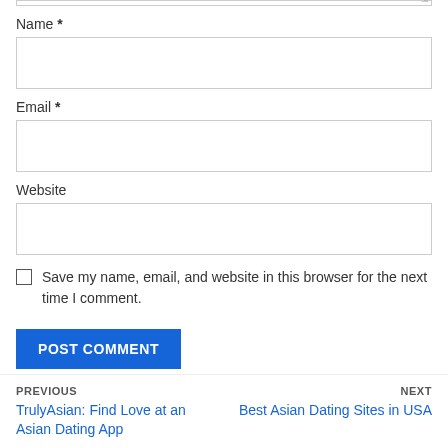Name *
[Figure (other): Name text input field]
Email *
[Figure (other): Email text input field]
Website
[Figure (other): Website text input field]
Save my name, email, and website in this browser for the next time I comment.
POST COMMENT
PREVIOUS
TrulyAsian: Find Love at an Asian Dating App
NEXT
Best Asian Dating Sites in USA